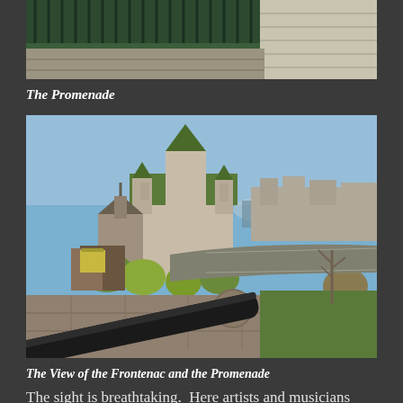[Figure (photo): Top portion of a railing/balcony photo showing a green metal railing and stone steps, The Promenade]
The Promenade
[Figure (photo): View of the Chateau Frontenac and the Promenade in Quebec City, with a cannon in the foreground, cityscape, river and blue sky in the background]
The View of the Frontenac and the Promenade
The sight is breathtaking.  Here artists and musicians reveal their talents as we